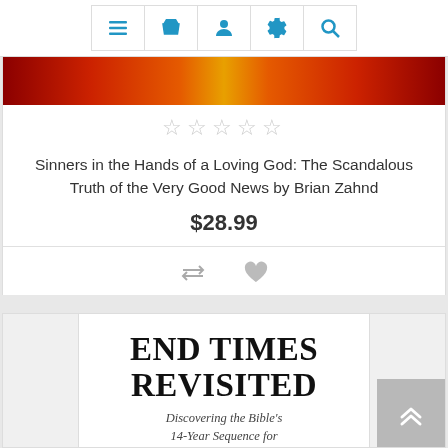[Figure (screenshot): Website navigation bar with icons: hamburger menu, shopping basket, user profile, settings gear, and search magnifier, all in blue]
[Figure (photo): Partial book cover image strip showing colorful background]
☆☆☆☆☆
Sinners in the Hands of a Loving God: The Scandalous Truth of the Very Good News by Brian Zahnd
$28.99
[Figure (screenshot): Compare arrows icon and heart/wishlist icon in gray]
ADD TO CART
[Figure (illustration): Book cover for END TIMES REVISITED showing large bold serif title and italic subtitle: Discovering the Bible's 14-Year Sequence for the End of the Age]
END TIMES REVISITED
Discovering the Bible's 14-Year Sequence for the End of the Age